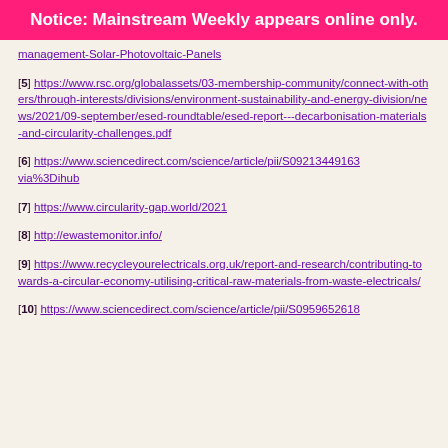Notice: Mainstream Weekly appears online only.
[5] https://www.rsc.org/globalassets/03-membership-community/connect-with-others/through-interests/divisions/environment-sustainability-and-energy-division/news/2021/09-september/esed-roundtable/esed-report---decarbonisation-materials-and-circularity-challenges.pdf
[6] https://www.sciencedirect.com/science/article/pii/S09213449163... via%3Dihub
[7] https://www.circularity-gap.world/2021
[8] http://ewastemonitor.info/
[9] https://www.recycleyourelectricals.org.uk/report-and-research/contributing-towards-a-circular-economy-utilising-critical-raw-materials-from-waste-electricals/
[10] https://www.sciencedirect.com/science/article/pii/S0959652618...